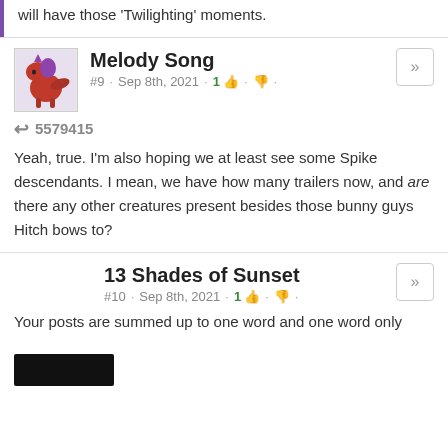will have those 'Twilighting' moments.
Melody Song
#9 · Sep 8th, 2021 · 1 👍 · 👎 ·
↩ 5579415
Yeah, true. I'm also hoping we at least see some Spike descendants. I mean, we have how many trailers now, and are there any other creatures present besides those bunny guys Hitch bows to?
13 Shades of Sunset
#10 · Sep 8th, 2021 · 1 👍 · 👎 ·
Your posts are summed up to one word and one word only